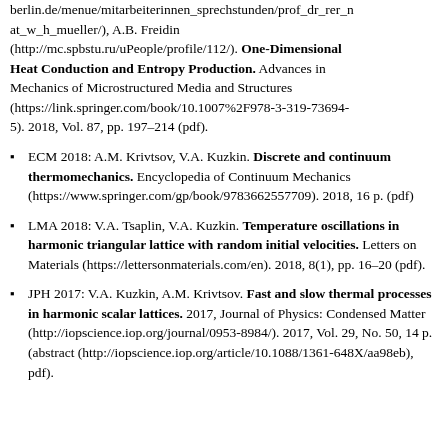berlin.de/menue/mitarbeiterinnen_sprechstunden/prof_dr_rer_n at_w_h_mueller/), A.B. Freidin (http://mc.spbstu.ru/uPeople/profile/112/). One-Dimensional Heat Conduction and Entropy Production. Advances in Mechanics of Microstructured Media and Structures (https://link.springer.com/book/10.1007%2F978-3-319-73694-5). 2018, Vol. 87, pp. 197–214 (pdf).
ECM 2018: A.M. Krivtsov, V.A. Kuzkin. Discrete and continuum thermomechanics. Encyclopedia of Continuum Mechanics (https://www.springer.com/gp/book/9783662557709). 2018, 16 p. (pdf)
LMA 2018: V.A. Tsaplin, V.A. Kuzkin. Temperature oscillations in harmonic triangular lattice with random initial velocities. Letters on Materials (https://lettersonmaterials.com/en). 2018, 8(1), pp. 16–20 (pdf).
JPH 2017: V.A. Kuzkin, A.M. Krivtsov. Fast and slow thermal processes in harmonic scalar lattices. 2017, Journal of Physics: Condensed Matter (http://iopscience.iop.org/journal/0953-8984/). 2017, Vol. 29, No. 50, 14 p. (abstract (http://iopscience.iop.org/article/10.1088/1361-648X/aa98eb), pdf).